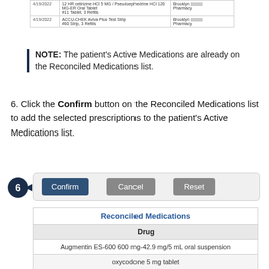| Date | Drug | Pharmacy |
| --- | --- | --- |
| 4/19/2022 | 12 HR cetirizine HCl 5 MG / Pseudoephedrine HCl 120 MG-ER Oral Tablet
#11 Tablet, 3 Refills | Brooklyn [redacted] Pharmacy |
| 4/19/2022 | ACCU-CHEK Aviva Plus Test Strip
#60 Strip, 3 Refills | Brooklyn [redacted] Pharmacy |
NOTE: The patient's Active Medications are already on the Reconciled Medications list.
6. Click the Confirm button on the Reconciled Medications list to add the selected prescriptions to the patient's Active Medications list.
[Figure (screenshot): UI showing Confirm, Cancel, and Reset buttons with a circle-6 callout arrow]
| Reconciled Medications - Drug |
| --- |
| Augmentin ES-600 600 mg-42.9 mg/5 mL oral suspension |
| oxycodone 5 mg tablet |
| Crestor 10 mg tablet |
| Needle 22G X 1 1/2' Sterile |
| cetirizine 5 mg-pseudoephedrine ER 120 mg |